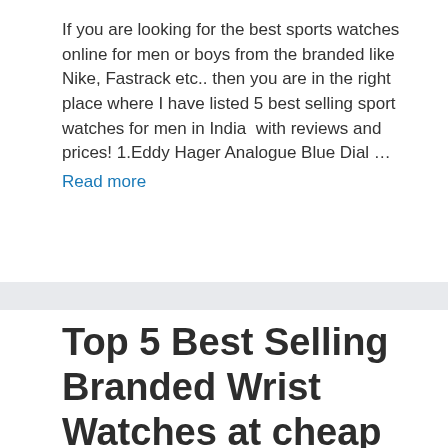If you are looking for the best sports watches online for men or boys from the branded like Nike, Fastrack etc.. then you are in the right place where I have listed 5 best selling sport watches for men in India  with reviews and prices! 1.Eddy Hager Analogue Blue Dial … Read more
Top 5 Best Selling Branded Wrist Watches at cheap prices online from Amazon India